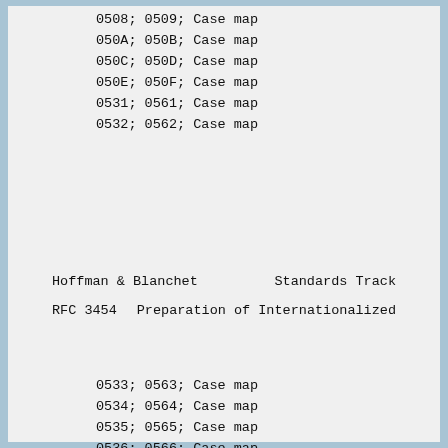0508; 0509; Case map
050A; 050B; Case map
050C; 050D; Case map
050E; 050F; Case map
0531; 0561; Case map
0532; 0562; Case map
Hoffman & Blanchet                    Standards Track
RFC 3454          Preparation of Internationalized
0533; 0563; Case map
0534; 0564; Case map
0535; 0565; Case map
0536; 0566; Case map
0537; 0567; Case map
0538; 0568; Case map
0539; 0569; Case map
053A; 056A; Case map
053B; 056B; Case map